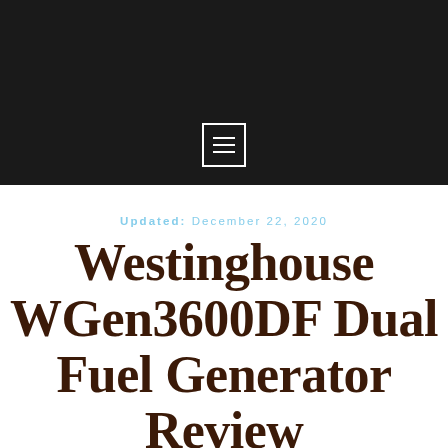[Figure (other): Black header banner with a white-bordered menu icon (hamburger icon with three horizontal lines) centered at the bottom]
Updated: December 22, 2020
Westinghouse WGen3600DF Dual Fuel Generator Review